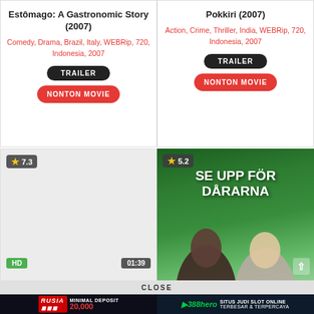Estômago: A Gastronomic Story (2007)
Comedy, Drama, Brazil, Italy, WEBRip, 720, Indonesia, 2007
TRAILER
NONTON MOVIE
Pokkiri (2007)
Action, Crime, Thriller, India, WEBRip, 720, Indonesia, 2007
TRAILER
NONTON MOVIE
[Figure (other): Movie card bottom-left with HD badge, rating 7.3, and 01:39 time badge on grey background]
[Figure (photo): Movie poster for Se Upp För Dårarna with two smiling women on green background, rating 5.2]
CLOSE
[Figure (other): Advertisement banner left: RUSIA 777 MINIMAL DEPOSIT 20,000]
[Figure (other): Advertisement banner right: 388hero SITUS JUDI SLOT ONLINE TERBESAR & TERPERCAYA]